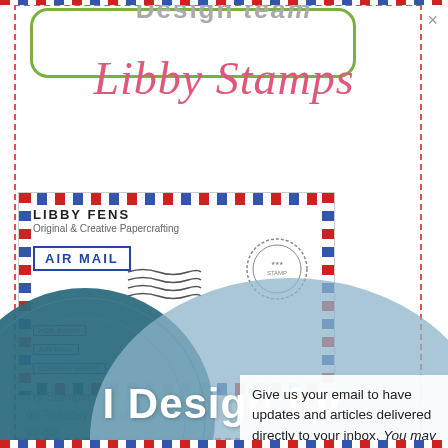Design Team
Libby Stamps
[Figure (illustration): Air mail envelope with red/blue diagonal border stripes, AIR MAIL rubber stamp, LIBBY FENS header, postmark stamp, and POR AVION / AIR MAIL / CORREO AEREO labels]
Give us your email to have updates and articles delivered directly to your inbox. You may opt out at any time.
Try Stampin' for both on Tuesday Design Team let-do!
First Name
Enter your first name
[Figure (illustration): Two overlapping heart/circle shapes in teal and light blue with decorative patterns, overlaid with bold white text 'I Design for']
I Design for
Email address: